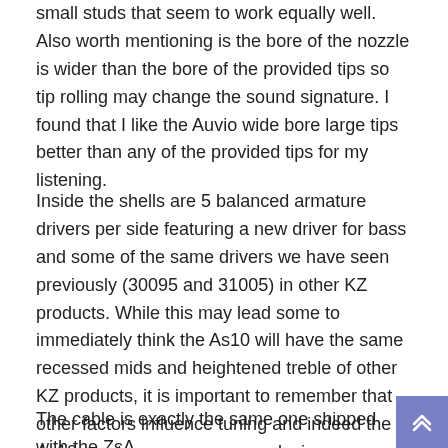small studs that seem to work equally well.  Also worth mentioning is the bore of the nozzle is wider than the bore of the provided tips so tip rolling may change the sound signature.  I found that I like the Auvio wide bore large tips better than any of the provided tips for my listening.
Inside the shells are 5 balanced armature drivers per side featuring a new driver for bass and some of the same drivers we have seen previously (30095 and 31005) in other KZ products.  While this may lead some to immediately think the As10 will have the same recessed mids and heightened treble of other KZ products, it is important to remember that other factors influence tuning and indeed the As10 sports a new crossover design as evidenced by the visible components.
The cable is exactly the same one shipped with the ZsA